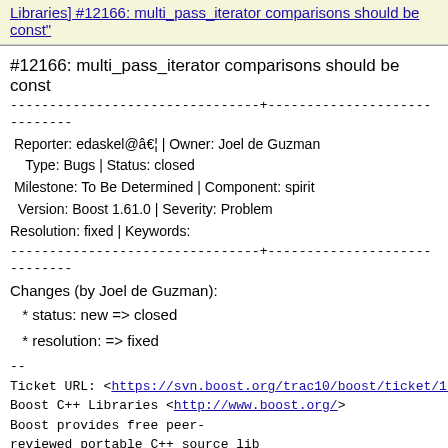Libraries] #12166: multi_pass_iterator comparisons should be const"
#12166: multi_pass_iterator comparisons should be const
Reporter: edaskel@â€¦ | Owner: Joel de Guzman
Type: Bugs | Status: closed
Milestone: To Be Determined | Component: spirit
Version: Boost 1.61.0 | Severity: Problem
Resolution: fixed | Keywords:
Changes (by Joel de Guzman):
* status: new => closed
* resolution: => fixed
--
Ticket URL: <https://svn.boost.org/trac10/boost/ticket/12...>
Boost C++ Libraries <http://www.boost.org/>
Boost provides free peer-reviewed portable C++ source lib
Next message: Boost C++ Libraries: "Re: [Boost-bugs] [Boost C++ Libraries] #13093: boost_1_41_0 and qi compiler error"